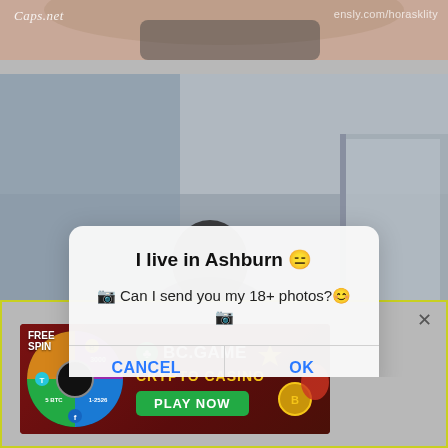[Figure (screenshot): Top portion of a background photo showing a person's torso/neck area with watermarks: 'Caps.net' on the left and 'ensly.com/horasklity' on the right]
[Figure (screenshot): Main background photo showing a blurred interior room scene with a dark silhouette of a person's head, with a modal dialog overlay reading 'I live in Ashburn' and 'Can I send you my 18+ photos?' with CANCEL and OK buttons]
[Figure (screenshot): BC.GAME Crypto Casino advertisement banner with a spinning wheel showing FREE SPIN, values 3000, 1-2526, 5 BTC, and a PLAY NOW button. Has a yellow-green border and an X close button.]